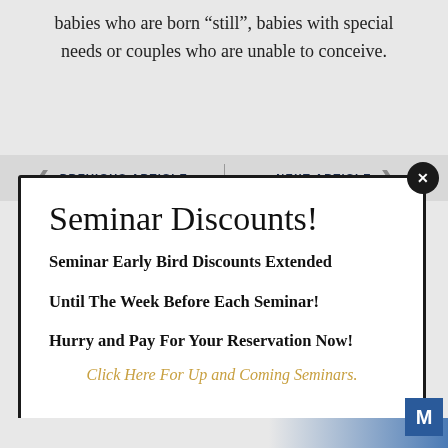babies who are born “still”, babies with special needs or couples who are unable to conceive.
PREVIOUS ARTICLE | NEXT ARTICLE
Seminar Discounts!
Seminar Early Bird Discounts Extended
Until The Week Before Each Seminar!
Hurry and Pay For Your Reservation Now!
Click Here For Up and Coming Seminars.